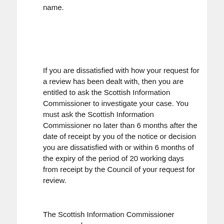name.
If you are dissatisfied with how your request for a review has been dealt with, then you are entitled to ask the Scottish Information Commissioner to investigate your case. You must ask the Scottish Information Commissioner no later than 6 months after the date of receipt by you of the notice or decision you are dissatisfied with or within 6 months of the expiry of the period of 20 working days from receipt by the Council of your request for review.
The Scottish Information Commissioner recommends